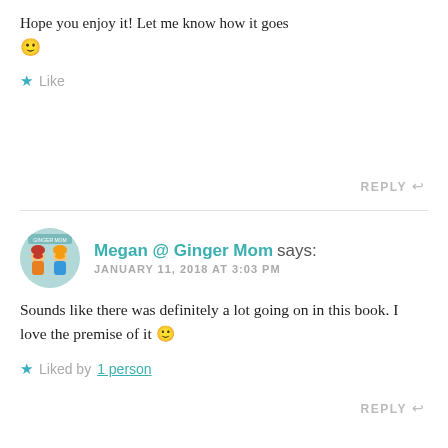Hope you enjoy it! Let me know how it goes 🙂
Like
REPLY
Megan @ Ginger Mom says:
JANUARY 11, 2018 AT 3:03 PM
Sounds like there was definitely a lot going on in this book. I love the premise of it 🙂
Liked by 1 person
REPLY